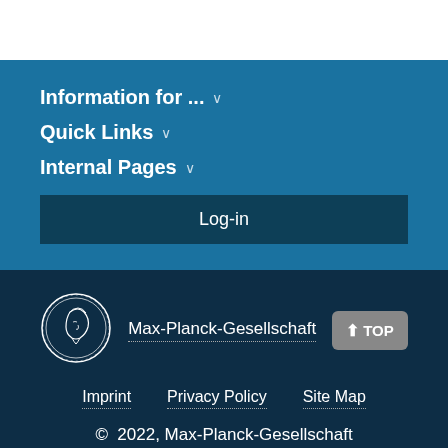Information for ... ∨
Quick Links ∨
Internal Pages ∨
Log-in
[Figure (logo): Max-Planck-Gesellschaft circular coin/medallion logo with profile head]
Max-Planck-Gesellschaft
⬆ TOP
Imprint   Privacy Policy   Site Map
© 2022, Max-Planck-Gesellschaft